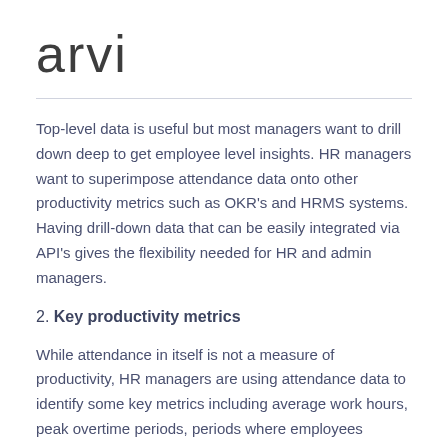arvi
Top-level data is useful but most managers want to drill down deep to get employee level insights. HR managers want to superimpose attendance data onto other productivity metrics such as OKR's and HRMS systems. Having drill-down data that can be easily integrated via API's gives the flexibility needed for HR and admin managers.
2. Key productivity metrics
While attendance in itself is not a measure of productivity, HR managers are using attendance data to identify some key metrics including average work hours, peak overtime periods, periods where employees